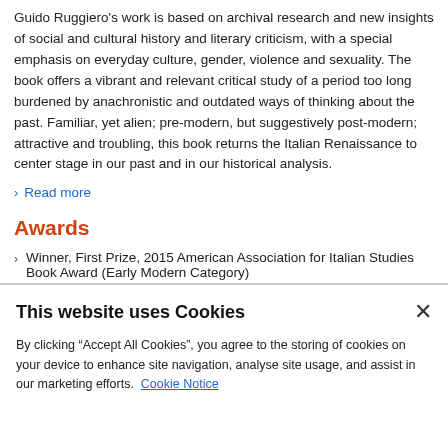Guido Ruggiero's work is based on archival research and new insights of social and cultural history and literary criticism, with a special emphasis on everyday culture, gender, violence and sexuality. The book offers a vibrant and relevant critical study of a period too long burdened by anachronistic and outdated ways of thinking about the past. Familiar, yet alien; pre-modern, but suggestively post-modern; attractive and troubling, this book returns the Italian Renaissance to center stage in our past and in our historical analysis.
Read more
Awards
Winner, First Prize, 2015 American Association for Italian Studies Book Award (Early Modern Category)
This website uses Cookies
By clicking “Accept All Cookies”, you agree to the storing of cookies on your device to enhance site navigation, analyse site usage, and assist in our marketing efforts. Cookie Notice